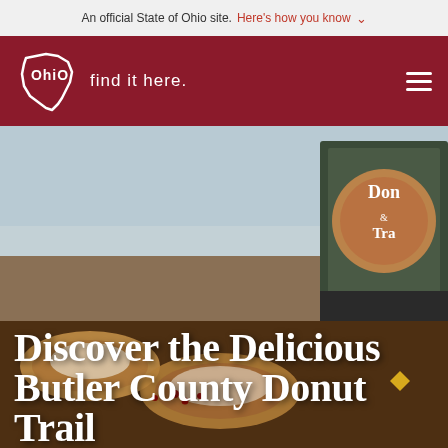An official State of Ohio site. Here's how you know
[Figure (logo): Ohio Tourism logo with Ohio state shape outline and 'find it here.' text on dark red background with hamburger menu icon]
[Figure (photo): Hero image showing donuts in foreground with a Donut Trail sign/box visible on the right side, blurred outdoor background]
Discover the Delicious Butler County Donut Trail